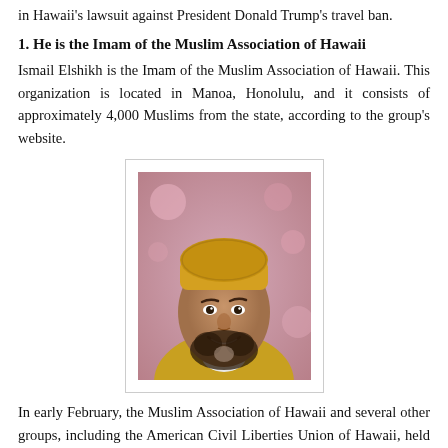in Hawaii's lawsuit against President Donald Trump's travel ban.
1. He is the Imam of the Muslim Association of Hawaii
Ismail Elshikh is the Imam of the Muslim Association of Hawaii. This organization is located in Manoa, Honolulu, and it consists of approximately 4,000 Muslims from the state, according to the group's website.
[Figure (photo): Portrait photo of Ismail Elshikh wearing a yellow kufi cap and yellow robe, smiling, with pink flowers in the background.]
In early February, the Muslim Association of Hawaii and several other groups, including the American Civil Liberties Union of Hawaii, held a press conference on the steps of the Honolulu Federal Building, speaking about the rights of